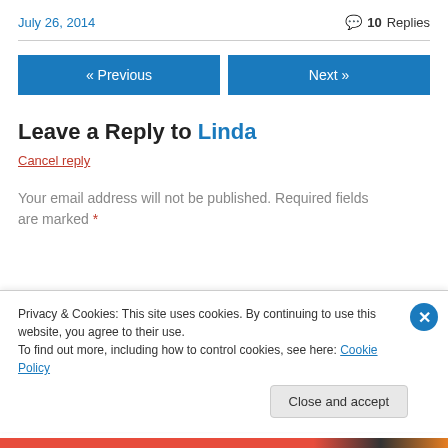July 26, 2014   💬 10 Replies
« Previous   Next »
Leave a Reply to Linda
Cancel reply
Your email address will not be published. Required fields are marked *
Privacy & Cookies: This site uses cookies. By continuing to use this website, you agree to their use.
To find out more, including how to control cookies, see here: Cookie Policy